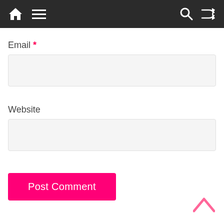[Figure (screenshot): Top navigation bar with dark background, pink top stripe, home icon, hamburger menu icon, search icon, and shuffle icon]
Email *
[Figure (screenshot): Email input field - empty text input box with light gray background]
Website
[Figure (screenshot): Website input field - empty text input box with light gray background]
Post Comment
[Figure (screenshot): Back to top chevron arrow icon in pink color at bottom right]